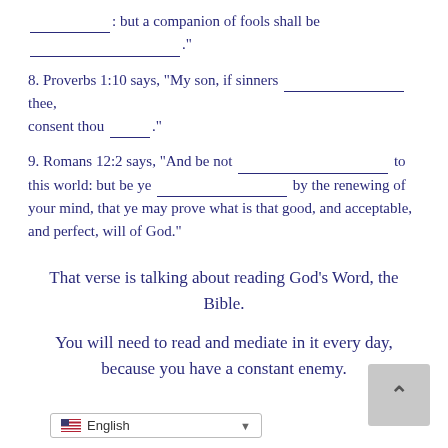________: but a companion of fools shall be _________________."
8. Proverbs 1:10 says, “My son, if sinners ____________ thee, consent thou ______.”
9. Romans 12:2 says, “And be not ___________________ to this world: but be ye _________________________ by the renewing of your mind, that ye may prove what is that good, and acceptable, and perfect, will of God.”
That verse is talking about reading God’s Word, the Bible.
You will need to read and mediate in it every day, because you have a constant enemy.